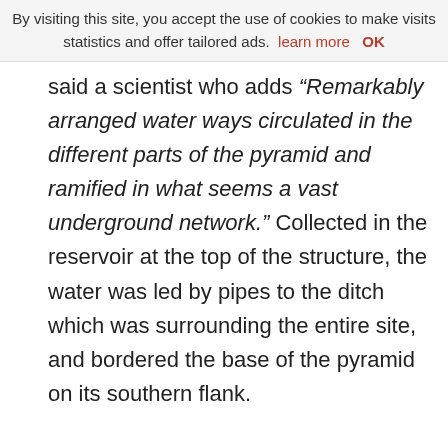By visiting this site, you accept the use of cookies to make visits statistics and offer tailored ads.  learn more   OK
said a scientist who adds “Remarkably arranged water ways circulated in the different parts of the pyramid and ramified in what seems a vast underground network.” Collected in the reservoir at the top of the structure, the water was led by pipes to the ditch which was surrounding the entire site, and bordered the base of the pyramid on its southern flank.

These masonry interests all